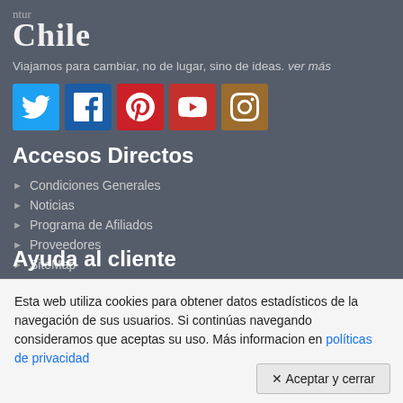Chile
Viajamos para cambiar, no de lugar, sino de ideas. ver más
[Figure (other): Social media icons: Twitter (blue), Facebook (dark blue), Pinterest (red), YouTube (red), Instagram (brown/gold)]
Accesos Directos
Condiciones Generales
Noticias
Programa de Afiliados
Proveedores
SiteMap
Ayuda al cliente
Esta web utiliza cookies para obtener datos estadísticos de la navegación de sus usuarios. Si continúas navegando consideramos que aceptas su uso. Más informacion en políticas de privacidad
✕ Aceptar y cerrar